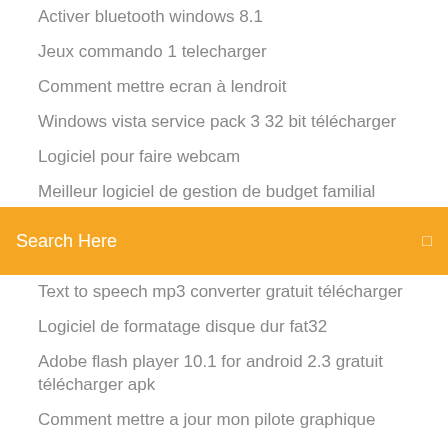Activer bluetooth windows 8.1
Jeux commando 1 telecharger
Comment mettre ecran à lendroit
Windows vista service pack 3 32 bit télécharger
Logiciel pour faire webcam
Meilleur logiciel de gestion de budget familial
Gopro studio 32 bit windows 10
Search Here
Text to speech mp3 converter gratuit télécharger
Logiciel de formatage disque dur fat32
Adobe flash player 10.1 for android 2.3 gratuit télécharger apk
Comment mettre a jour mon pilote graphique
Windows live movie maker pour xp en francais
Pages jaunes la poste.fr
Internet explorer 11 vista 32 bits
Les sims 2 mac crack
Need for speed underground telecharger gratuit